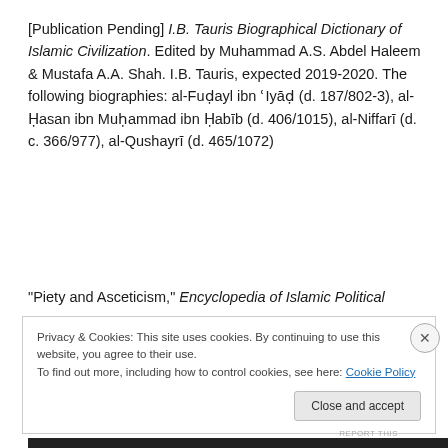[Publication Pending] I.B. Tauris Biographical Dictionary of Islamic Civilization. Edited by Muhammad A.S. Abdel Haleem & Mustafa A.A. Shah. I.B. Tauris, expected 2019-2020. The following biographies: al-Fuḍayl ibn ʿIyāḍ (d. 187/802-3), al-Ḥasan ibn Muḥammad ibn Ḥabīb (d. 406/1015), al-Niffarī (d. c. 366/977), al-Qushayrī (d. 465/1072)
“Piety and Asceticism,” Encyclopedia of Islamic Political
Privacy & Cookies: This site uses cookies. By continuing to use this website, you agree to their use.
To find out more, including how to control cookies, see here: Cookie Policy